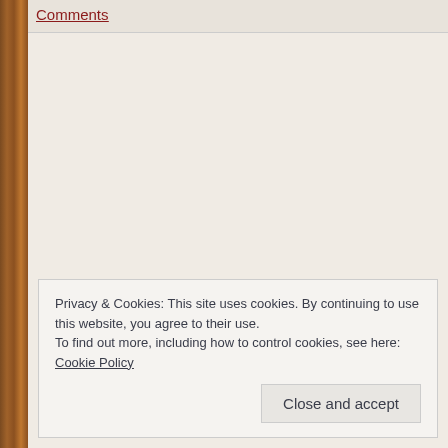Comments
Privacy & Cookies: This site uses cookies. By continuing to use this website, you agree to their use.
To find out more, including how to control cookies, see here: Cookie Policy
Close and accept